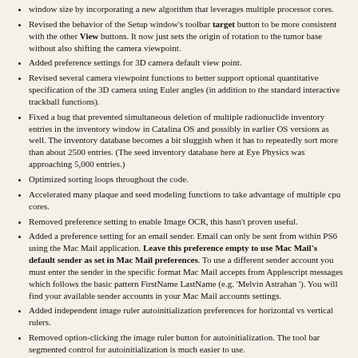window size by incorporating a new algorithm that leverages multiple processor cores.
Revised the behavior of the Setup window's toolbar target button to be more consistent with the other View buttons. It now just sets the origin of rotation to the tumor base without also shifting the camera viewpoint.
Added preference settings for 3D camera default view point.
Revised several camera viewpoint functions to better support optional quantitative specification of the 3D camera using Euler angles (in addition to the standard interactive trackball functions).
Fixed a bug that prevented simultaneous deletion of multiple radionuclide inventory entries in the inventory window in Catalina OS and possibly in earlier OS versions as well. The inventory database becomes a bit sluggish when it has to repeatedly sort more than about 2500 entries. (The seed inventory database here at Eye Physics was approaching 5,000 entries.)
Optimized sorting loops throughout the code.
Accelerated many plaque and seed modeling functions to take advantage of multiple cpu cores.
Removed preference setting to enable Image OCR, this hasn't proven useful.
Added a preference setting for an email sender. Email can only be sent from within PS6 using the Mac Mail application. Leave this preference empty to use Mac Mail's default sender as set in Mac Mail preferences. To use a different sender account you must enter the sender in the specific format Mac Mail accepts from Applescript messages which follows the basic pattern FirstName LastName (e.g. 'Melvin Astrahan'). You will find your available sender accounts in your Mac Mail accounts settings.
Added independent image ruler autoinitialization preferences for horizontal vs vertical rulers.
Removed option-clicking the image ruler button for autoinitialization. The tool bar segmented control for autoinitialization is much easier to use.